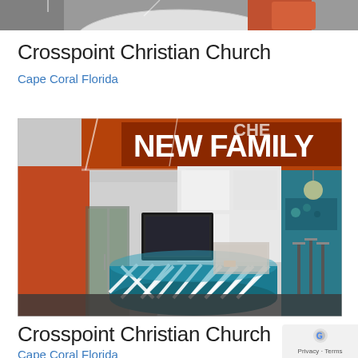[Figure (photo): Partial view of a church interior showing a curved white reception desk and orange walls, cropped at top of page]
Crosspoint Christian Church
Cape Coral Florida
[Figure (photo): Interior of Crosspoint Christian Church showing a teal/blue circular reception desk with white geometric pattern, orange accent walls with 'NEW FAMILY' text in large letters, TV mounted on wall, and open lobby area]
Crosspoint Christian Church
Cape Coral Florida